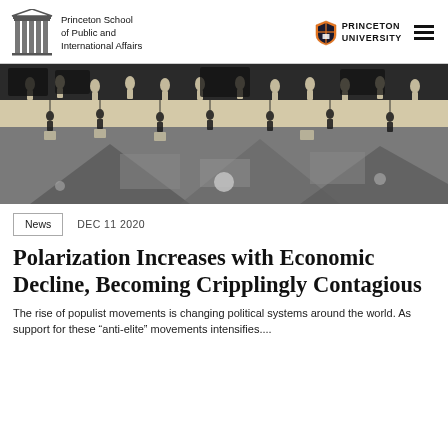Princeton School of Public and International Affairs | PRINCETON UNIVERSITY
[Figure (illustration): Black and white artistic illustration showing silhouetted human figures in a complex, layered scene with geometric and organic shapes]
News   DEC 11 2020
Polarization Increases with Economic Decline, Becoming Cripplingly Contagious
The rise of populist movements is changing political systems around the world. As support for these “anti-elite” movements intensifies....